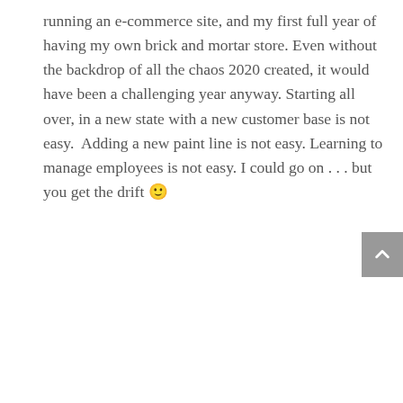running an e-commerce site, and my first full year of having my own brick and mortar store. Even without the backdrop of all the chaos 2020 created, it would have been a challenging year anyway. Starting all over, in a new state with a new customer base is not easy.  Adding a new paint line is not easy. Learning to manage employees is not easy. I could go on . . . but you get the drift 🙂